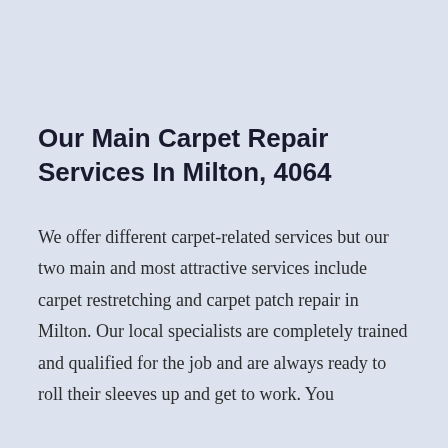Our Main Carpet Repair Services In Milton, 4064
We offer different carpet-related services but our two main and most attractive services include carpet restretching and carpet patch repair in Milton. Our local specialists are completely trained and qualified for the job and are always ready to roll their sleeves up and get to work. You